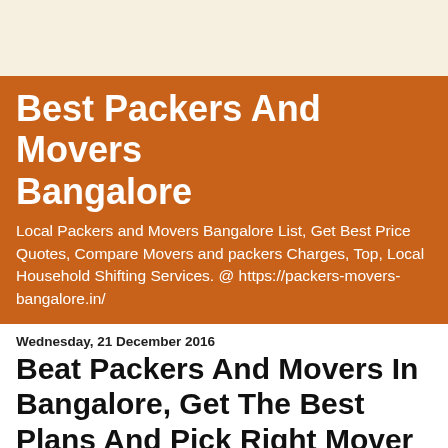Best Packers And Movers Bangalore
Local Packers and Movers Bangalore List, Get Best Price Quotes, Compare Movers and packers Charges, Top, Local Household Shifting Services. @ https://packers-movers-bangalore.in/
Wednesday, 21 December 2016
Beat Packers And Movers In Bangalore, Get The Best Plans And Pick Right Mover
Move securely with Packers and Movers Bangalore. Whether you are #moving not far-removed inside the #city of #Bangalore or moving to elsewhere, we are adequately fit to handle your turn and make the system extraordinarily basic